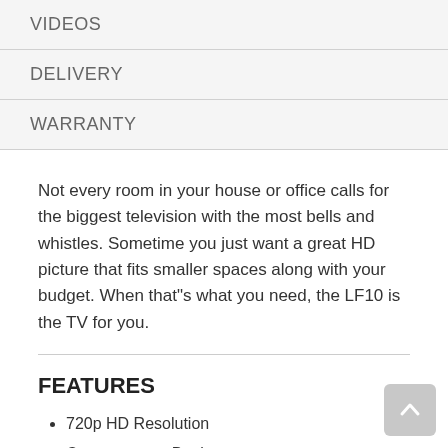VIDEOS
DELIVERY
WARRANTY
Not every room in your house or office calls for the biggest television with the most bells and whistles. Sometime you just want a great HD picture that fits smaller spaces along with your budget. When that"s what you need, the LF10 is the TV for you.
FEATURES
720p HD Resolution
Contemporary Design
Wide Viewing Angle
HDMI V.1.3 with Deep Color